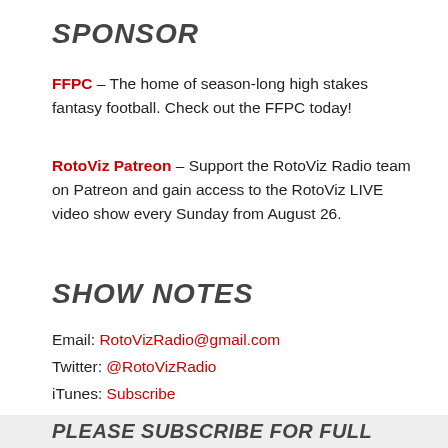SPONSOR
FFPC – The home of season-long high stakes fantasy football. Check out the FFPC today!
RotoViz Patreon – Support the RotoViz Radio team on Patreon and gain access to the RotoViz LIVE video show every Sunday from August 26.
SHOW NOTES
Email: RotoVizRadio@gmail.com
Twitter: @RotoVizRadio
iTunes: Subscribe
PLEASE SUBSCRIBE FOR FULL